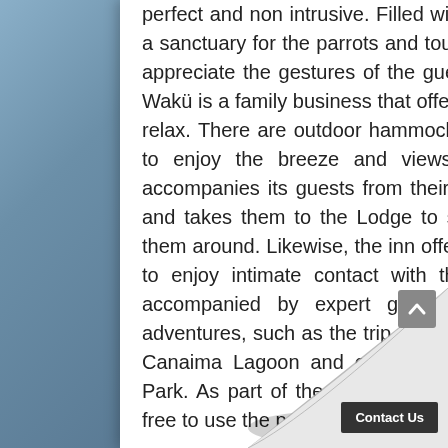perfect and non intrusive. Filled with uncaged birds, Wakü has become a sanctuary for the parrots and toucans that decided to live there. They appreciate the gestures of the guests, including caresses and snacks. Wakü is a family business that offers multiple spaces to share, read and relax. There are outdoor hammocks and many seating areas available to enjoy the breeze and views of the lagoon. The Wakü team accompanies its guests from their arrival at the airport, picks them up and takes them to the Lodge to share a welcome cocktail and show them around. Likewise, the inn offers packages that will allow its guests to enjoy intimate contact with the Canaima National Park, always accompanied by expert guides in the different expeditions and adventures, such as the trip to Angel Falls in a long canoe, through the Canaima Lagoon and other eye-catching attractions of the National Park. As part of the basic package, during their stay, people can feel free to use the pa...